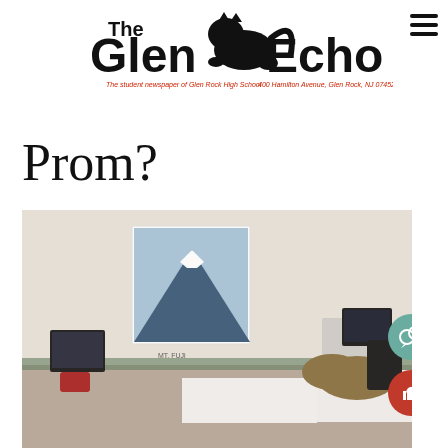[Figure (logo): The Glen Echo - The student newspaper of Glen Rock High School. Logo with panther mascot. Address: 400 Hamilton Avenue, Glen Rock, NJ 07452]
Prom?
[Figure (photo): A classroom scene showing a student with their head down on a desk, surrounded by computers and monitors. A poster of a mountain (Mt. Fuji) is visible on the wall in the background.]